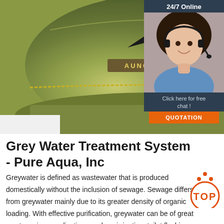[Figure (photo): Close-up photo of olive/army green trucker caps with eagle logo and 'AUNG CROWN' text on the front panel]
[Figure (infographic): 24/7 Online chat widget showing a female customer service agent with headset, 'Click here for free chat!' text and an orange QUOTATION button]
Grey Water Treatment System - Pure Aqua, Inc
Greywater is defined as wastewater that is produced domestically without the inclusion of sewage. Sewage differs from greywater mainly due to its greater density of organic loading. With effective purification, greywater can be of great use to various applications such as irrigation, toilet flushing, laundry, etc. Treated greywater can be utilized for the irrigation of both consumable and non-
[Figure (infographic): Orange 'TOP' back-to-top button with dots above forming an upward triangle/arrow shape]